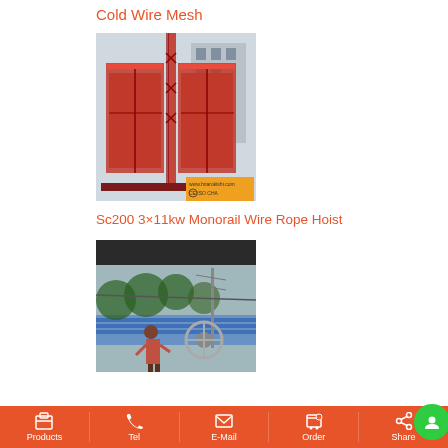Cold Wire Mesh
[Figure (photo): Red construction hoist/building elevator SC200 with dual cages on a mast, CE ISO CHA certified, website watermark visible]
Sc200 3×11kw Monorail Wire Rope Hoist
[Figure (photo): Outdoor scene showing a wire rope reel/spool installation with a tower in the background and a person standing nearby]
Products   Tel   E-Mail   Order   Share